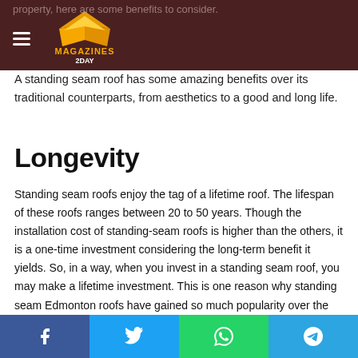Magazines 2day logo header
property, here are some benefits to consider. A standing seam roof has some amazing benefits over its traditional counterparts, from aesthetics to a good and long life.
Longevity
Standing seam roofs enjoy the tag of a lifetime roof. The lifespan of these roofs ranges between 20 to 50 years. Though the installation cost of standing-seam roofs is higher than the others, it is a one-time investment considering the long-term benefit it yields. So, in a way, when you invest in a standing seam roof, you may make a lifetime investment. This is one reason why standing seam Edmonton roofs have gained so much popularity over the others.
Social share buttons: Facebook, Twitter, WhatsApp, Telegram